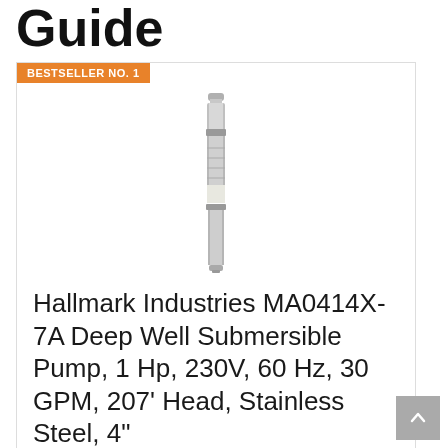Guide
BESTSELLER NO. 1
[Figure (photo): Hallmark Industries MA0414X-7A Deep Well Submersible Pump, a tall narrow stainless steel cylindrical pump unit]
Hallmark Industries MA0414X-7A Deep Well Submersible Pump, 1 Hp, 230V, 60 Hz, 30 GPM, 207' Head, Stainless Steel, 4"